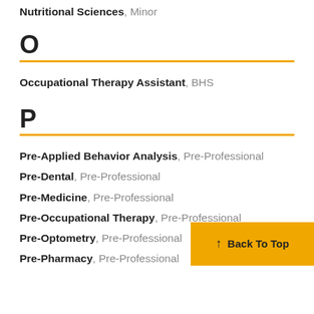Nutritional Sciences, Minor
O
Occupational Therapy Assistant, BHS
P
Pre-Applied Behavior Analysis, Pre-Professional
Pre-Dental, Pre-Professional
Pre-Medicine, Pre-Professional
Pre-Occupational Therapy, Pre-Professional
Pre-Optometry, Pre-Professional
Pre-Pharmacy, Pre-Professional